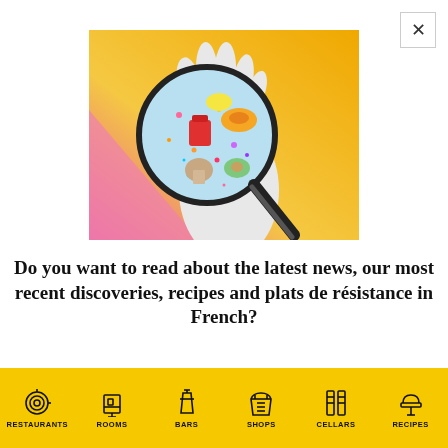[Figure (illustration): Colorful illustration of a white-gloved hand holding a magnifying glass over a scene of food items on a light blue background with confetti, set against a pink and yellow gradient background.]
Do you want to read about the latest news, our most recent discoveries, recipes and plats de résistance in French?
RESTAURANTS  ROOMS  BARS  SHOPS  CELLARS  RECIPES